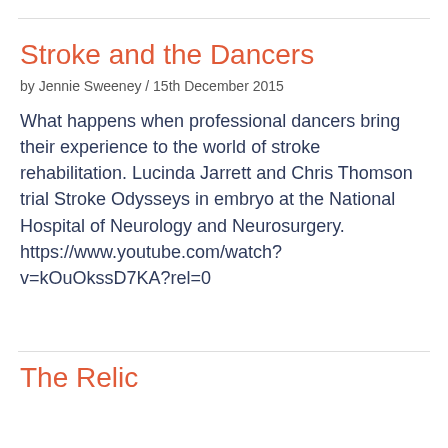Stroke and the Dancers
by Jennie Sweeney / 15th December 2015
What happens when professional dancers bring their experience to the world of stroke rehabilitation. Lucinda Jarrett and Chris Thomson trial Stroke Odysseys in embryo at the National Hospital of Neurology and Neurosurgery. https://www.youtube.com/watch?v=kOuOkssD7KA?rel=0
The Relic